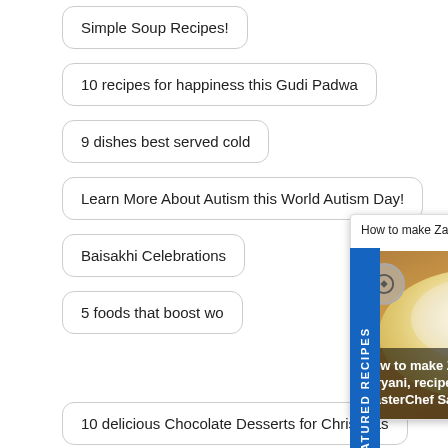Simple Soup Recipes!
10 recipes for happiness this Gudi Padwa
9 dishes best served cold
Learn More About Autism this World Autism Day!
Baisakhi Celebrations
5 foods that boost wo…
[Figure (photo): Popup overlay showing a bowl of Zarda Boondi Biryani with orange slices and mint, with 'FEATURED RECIPES' label on the side, and a close button. Title reads: How to make Zarda Boondi Biryani, recipe by MasterChef Sanjeev Kapoor]
10 delicious Chocolate Desserts for Christmas